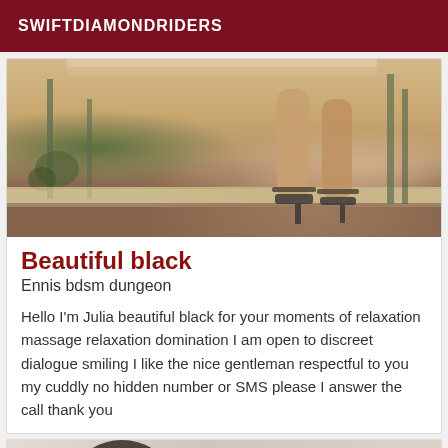SWIFTDIAMONDRIDERS
[Figure (photo): Cropped photo showing woman's legs in high-heeled sandals on a tiled floor/steps area with outdoor furniture visible]
Beautiful black
Ennis bdsm dungeon
Hello I'm Julia beautiful black for your moments of relaxation massage relaxation domination I am open to discreet dialogue smiling I like the nice gentleman respectful to you my cuddly no hidden number or SMS please I answer the call thank you
[Figure (photo): Cropped photo of a person lying face down with hands behind head, showing a massage or relaxation scene, with a 'Verified' badge overlay in the top right corner]